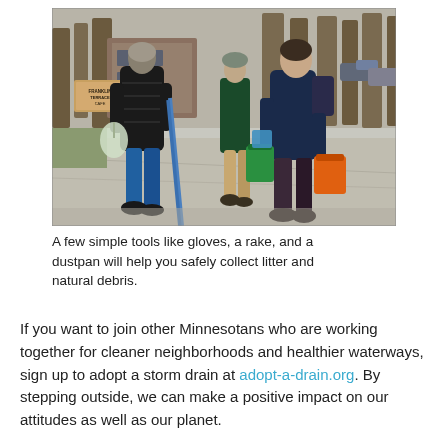[Figure (photo): Outdoor photo of people doing a neighborhood cleanup on a sidewalk. Person on left wearing black puffer jacket, holding a plastic bag and a blue-handled rake/broom. Person in dark jacket in middle background. Person on right wearing dark jacket and carrying green and orange buckets. Bare trees and a sign reading 'Franklin Terrace Cafe' in the background.]
A few simple tools like gloves, a rake, and a dustpan will help you safely collect litter and natural debris.
If you want to join other Minnesotans who are working together for cleaner neighborhoods and healthier waterways, sign up to adopt a storm drain at adopt-a-drain.org. By stepping outside, we can make a positive impact on our attitudes as well as our planet.